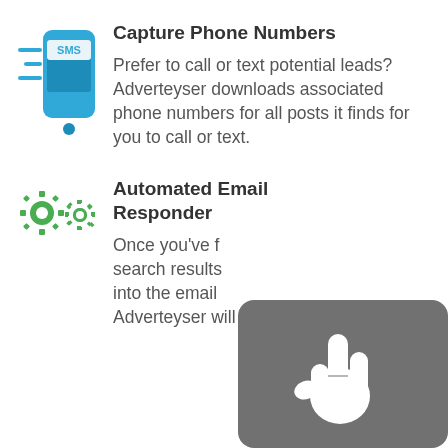[Figure (illustration): Blue SMS smartphone icon with speed lines on the left]
Capture Phone Numbers
Prefer to call or text potential leads? Adverteyser downloads associated phone numbers for all posts it finds for you to call or text.
[Figure (illustration): Two green gear/cog icons representing automated email responder]
Automated Email Responder
Once you've f... search results... into the email... Adverteyser will respond
[Figure (illustration): Grey rounded rectangle overlay with white pointing hand/cursor icon]